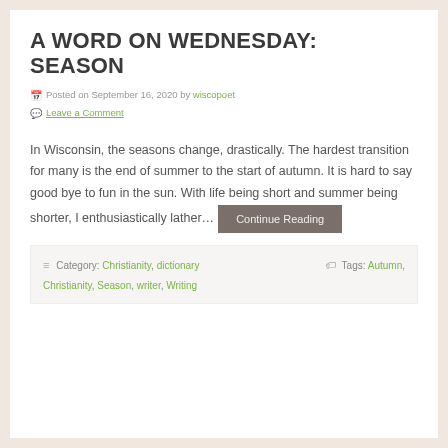A WORD ON WEDNESDAY: SEASON
Posted on September 16, 2020 by wiscopoet
Leave a Comment
In Wisconsin, the seasons change, drastically. The hardest transition for many is the end of summer to the start of autumn. It is hard to say good bye to fun in the sun. With life being short and summer being shorter, I enthusiastically lather…
Category: Christianity, dictionary   Tags: Autumn, Christianity, Season, writer, Writing